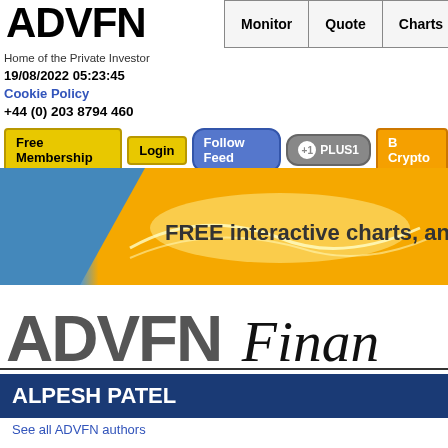[Figure (logo): ADVFN logo - black bold text]
Home of the Private Investor
19/08/2022 05:23:45
Cookie Policy
+44 (0) 203 8794 460
Monitor | Quote | Charts | Trades
Free Membership  Login  Follow Feed  +1 PLUS1  B Crypto
[Figure (illustration): Banner with blue and gold gradient background, text: FREE interactive charts, analy...]
[Figure (logo): ADVFN Finance logo in large bold gray/black italic text]
ALPESH PATEL
See all ADVFN authors
Alpesh Patel's NewsletterPro_ Fed Cha